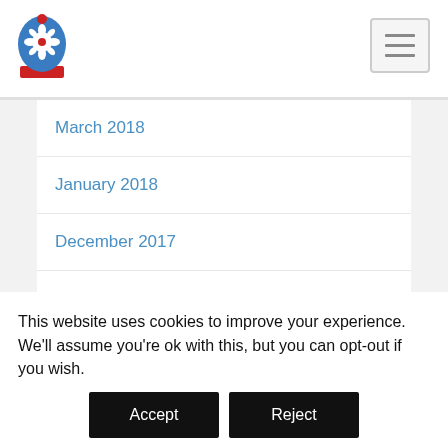[Figure (logo): Government/council logo - blue and red emblem with snowflake/flower design]
March 2018
January 2018
December 2017
November 2017
October 2017
September 2017
July 2017
June 2017
This website uses cookies to improve your experience. We'll assume you're ok with this, but you can opt-out if you wish.